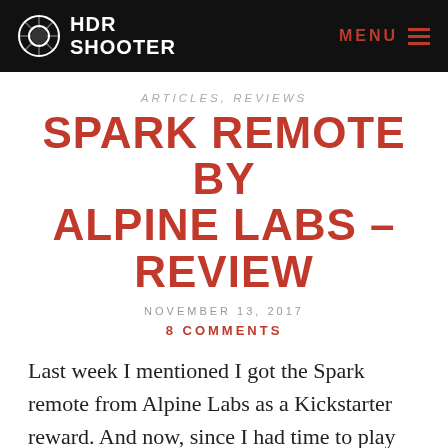HDR SHOOTER   MENU
ARTICLES, REVIEWS
SPARK REMOTE BY ALPINE LABS – REVIEW
NOVEMBER 13, 2017
8 COMMENTS
Last week I mentioned I got the Spark remote from Alpine Labs as a Kickstarter reward. And now, since I had time to play with it, I will share